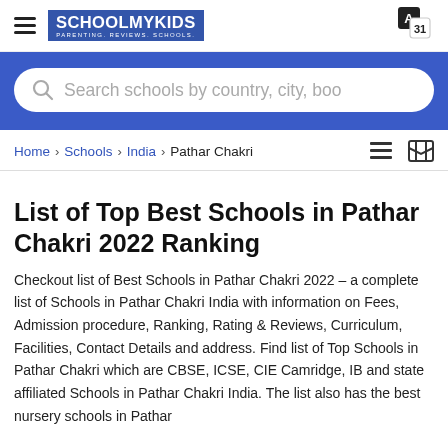SCHOOLMYKIDS — PARENTING. REVIEWS. SCHOOLS.
[Figure (screenshot): Search bar with placeholder text: Search schools by country, city, boo]
Home > Schools > India > Pathar Chakri
List of Top Best Schools in Pathar Chakri 2022 Ranking
Checkout list of Best Schools in Pathar Chakri 2022 – a complete list of Schools in Pathar Chakri India with information on Fees, Admission procedure, Ranking, Rating & Reviews, Curriculum, Facilities, Contact Details and address. Find list of Top Schools in Pathar Chakri which are CBSE, ICSE, CIE Camridge, IB and state affiliated Schools in Pathar Chakri India. The list also has the best nursery schools in Pathar